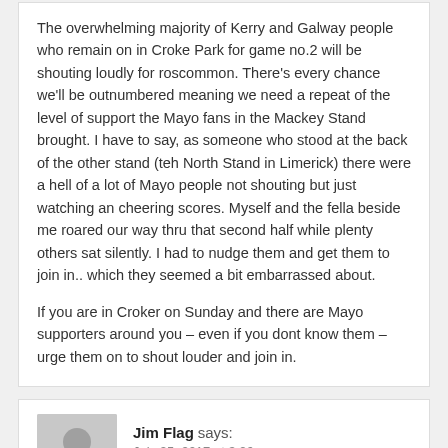The overwhelming majority of Kerry and Galway people who remain on in Croke Park for game no.2 will be shouting loudly for roscommon. There's every chance we'll be outnumbered meaning we need a repeat of the level of support the Mayo fans in the Mackey Stand brought. I have to say, as someone who stood at the back of the other stand (teh North Stand in Limerick) there were a hell of a lot of Mayo people not shouting but just watching an cheering scores. Myself and the fella beside me roared our way thru that second half while plenty others sat silently. I had to nudge them and get them to join in.. which they seemed a bit embarrassed about.

If you are in Croker on Sunday and there are Mayo supporters around you – even if you dont know them – urge them on to shout louder and join in.
Jim Flag says:
July 25, 2017 at 3:26 pm
So the big flag is a safety hazard now is it? Ah Jesus...